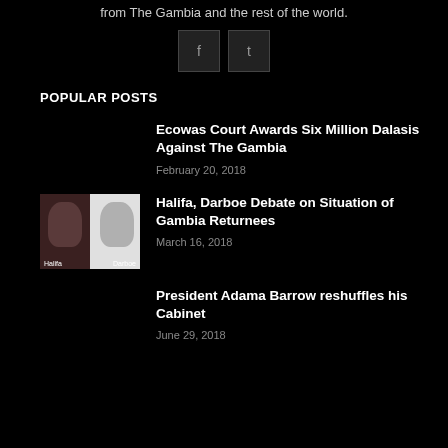provide you with the latest breaking news and videos straight from The Gambia and the rest of the world.
POPULAR POSTS
Ecowas Court Awards Six Million Dalasis Against The Gambia
February 20, 2018
[Figure (photo): Photo of Halifa and Darboe side by side with labels]
Halifa, Darboe Debate on Situation of Gambia Returnees
March 16, 2018
President Adama Barrow reshuffles his Cabinet
June 29, 2018